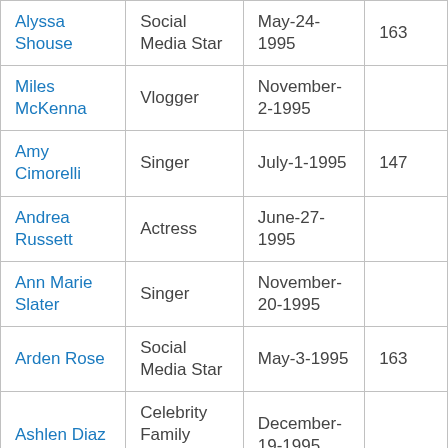| Alyssa Shouse | Social Media Star | May-24-1995 | 163 |
| Miles McKenna | Vlogger | November-2-1995 |  |
| Amy Cimorelli | Singer | July-1-1995 | 147 |
| Andrea Russett | Actress | June-27-1995 |  |
| Ann Marie Slater | Singer | November-20-1995 |  |
| Arden Rose | Social Media Star | May-3-1995 | 163 |
| Ashlen Diaz | Celebrity Family Member | December-19-1995 |  |